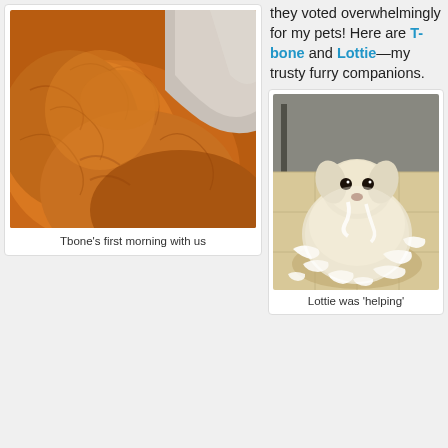[Figure (photo): Close-up photo of an orange tabby cat snuggled against a gray/white pillow or blanket]
Tbone's first morning with us
they voted overwhelmingly for my pets! Here are T-bone and Lottie—my trusty furry companions.
[Figure (photo): Small fluffy white/cream dog (Lottie) sitting on a tile floor surrounded by shredded tissue paper or stuffing]
Lottie was 'helping'